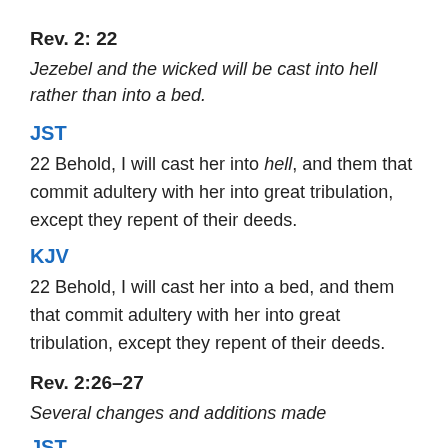Rev. 2: 22
Jezebel and the wicked will be cast into hell rather than into a bed.
JST
22 Behold, I will cast her into hell, and them that commit adultery with her into great tribulation, except they repent of their deeds.
KJV
22 Behold, I will cast her into a bed, and them that commit adultery with her into great tribulation, except they repent of their deeds.
Rev. 2:26–27
Several changes and additions made
JST